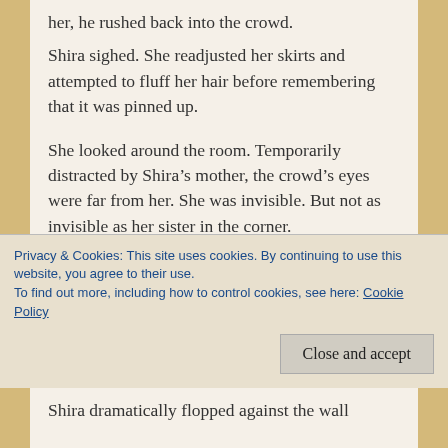her, he rushed back into the crowd.
Shira sighed. She readjusted her skirts and attempted to fluff her hair before remembering that it was pinned up.
She looked around the room. Temporarily distracted by Shira’s mother, the crowd’s eyes were far from her. She was invisible. But not as invisible as her sister in the corner.
Flouncing as if she were a child, Shira made her was across the ballroom floor to her sister. Keira – who Shira claimed was an inch shorter –
Privacy & Cookies: This site uses cookies. By continuing to use this website, you agree to their use.
To find out more, including how to control cookies, see here: Cookie Policy
Shira dramatically flopped against the wall